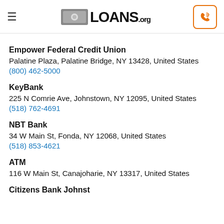LOANS.org
Empower Federal Credit Union
Palatine Plaza, Palatine Bridge, NY 13428, United States
(800) 462-5000
KeyBank
225 N Comrie Ave, Johnstown, NY 12095, United States
(518) 762-4691
NBT Bank
34 W Main St, Fonda, NY 12068, United States
(518) 853-4621
ATM
116 W Main St, Canajoharie, NY 13317, United States
Citizens Bank Johnstown